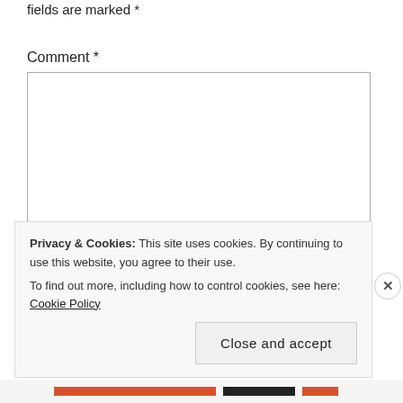fields are marked *
Comment *
[Figure (screenshot): Empty comment text area input box with resize handle in bottom-right corner]
Privacy & Cookies: This site uses cookies. By continuing to use this website, you agree to their use.
To find out more, including how to control cookies, see here: Cookie Policy
Close and accept